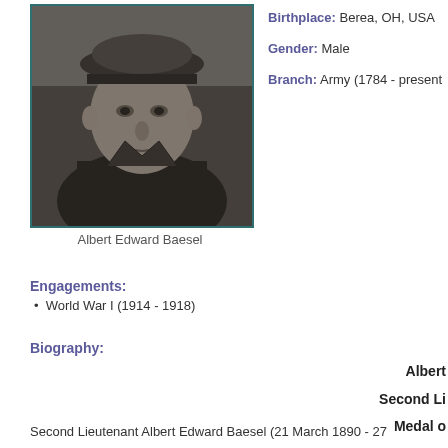[Figure (photo): Black and white portrait photograph of Albert Edward Baesel in military uniform with cap]
Albert Edward Baesel
Birthplace: Berea, OH, USA
Gender: Male
Branch: Army (1784 - present
Engagements:
World War I (1914 - 1918)
Biography:
Albert
Second Li
Medal o
W
Second Lieutenant Albert Edward Baesel (21 March 1890 - 27